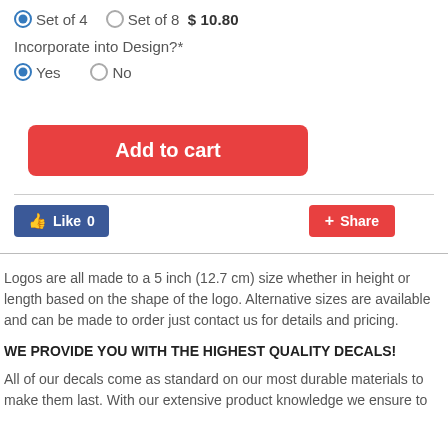Set of 4   Set of 8  $10.80
Incorporate into Design?*
Yes   No
Add to cart
[Figure (screenshot): Like 0 button (Facebook style, blue) and Share button (red with plus icon)]
Logos are all made to a 5 inch (12.7 cm) size whether in height or length based on the shape of the logo. Alternative sizes are available and can be made to order just contact us for details and pricing.
WE PROVIDE YOU WITH THE HIGHEST QUALITY DECALS!
All of our decals come as standard on our most durable materials to make them last. With our extensive product knowledge we ensure to